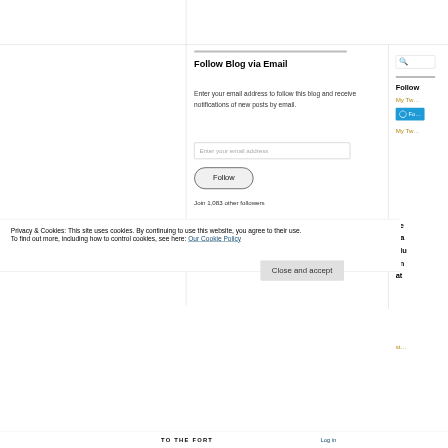Follow Blog via Email
Enter your email address to follow this blog and receive notifications of new posts by email.
Enter your email address
Follow
Join 1,083 other followers
Follow
My Tw…
Fo…
My Tw…
Privacy & Cookies: This site uses cookies. By continuing to use this website, you agree to their use.
To find out more, including how to control cookies, see here: Our Cookie Policy
Close and accept
TO THE FORT
Log in